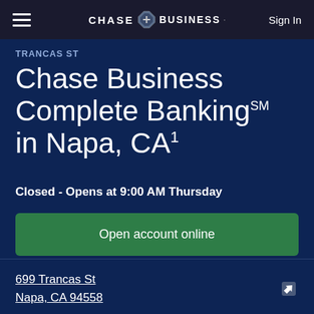CHASE for BUSINESS — Sign In
TRANCAS ST
Chase Business Complete Banking℠ in Napa, CA¹
Closed - Opens at 9:00 AM Thursday
Open account online
699 Trancas St
Napa, CA 94558
(707) 257-1664